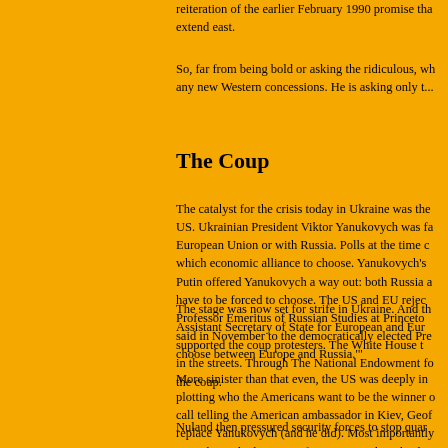reiteration of the earlier February 1990 promise that NATO would not extend east.
So, far from being bold or asking the ridiculous, wh... any new Western concessions. He is asking only t...
The Coup
The catalyst for the crisis today in Ukraine was the US. Ukrainian President Viktor Yanukovych was fa... European Union or with Russia. Polls at the time c... which economic alliance to choose. Yanukovych's ... Putin offered Yanukovych a way out: both Russia a... have to be forced to choose. The US and EU rejec... Professor Emeritus of Russian Studies at Princeto... said in November to the democratically elected Pre... choose between Europe and Russia.'"
The stage was now set for strife in Ukraine. And th... Assistant Secretary of State for European and Eur... supported the coup protesters. The White House t... in the streets. Through The National Endowment fo... the coup.
More sinister than that even, the US was deeply in... plotting who the Americans want to be the winner o... call telling the American ambassador in Kiev, Geof... replace Yanukovych (and he did). Most importantly... metaphorical admission of America's role in leadin... then Vice President Biden, himself, would be willin...
Nuland then pressured security forces to stop quar...